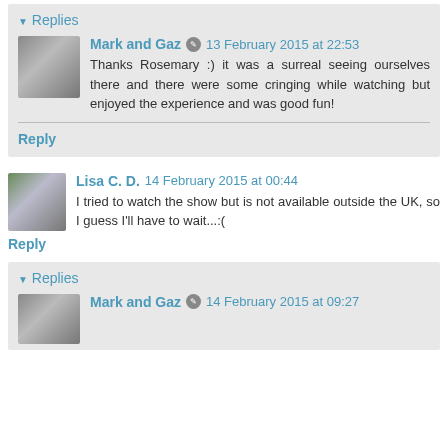Replies
Mark and Gaz  13 February 2015 at 22:53
Thanks Rosemary :) it was a surreal seeing ourselves there and there were some cringing while watching but enjoyed the experience and was good fun!
Reply
Lisa C. D.  14 February 2015 at 00:44
I tried to watch the show but is not available outside the UK, so I guess I'll have to wait...:(
Reply
Replies
Mark and Gaz  14 February 2015 at 09:27